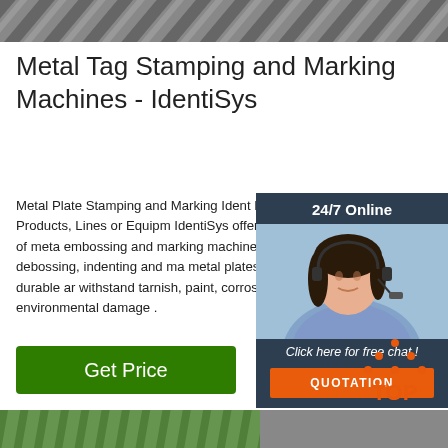[Figure (photo): Close-up photo of metal angle bars/profiles stacked together, gray metallic texture]
Metal Tag Stamping and Marking Machines - IdentiSys
Metal Plate Stamping and Marking Ident People, Parts, Products, Lines or Equipm IdentiSys offers a wide selection of meta embossing and marking machines used embossing, debossing, indenting and ma metal plates and tags that are durable ar withstand tarnish, paint, corrosion and environmental damage .
[Figure (photo): Customer service representative with headset smiling, used for 24/7 online chat widget with dark blue background, orange quotation button]
[Figure (other): Get Price green button]
[Figure (logo): TOP logo with orange dotted triangle above the word TOP in orange letters]
[Figure (photo): Bottom partial image showing metal materials, green and gray tones]